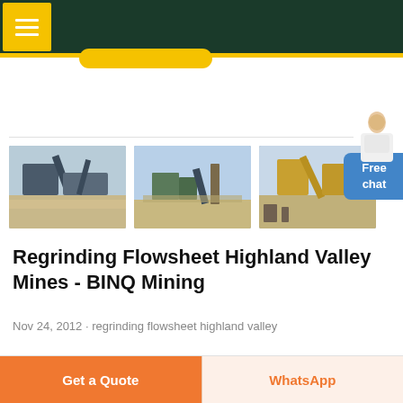BINQ Mining website header with menu button
[Figure (photo): Three photos of mining/crushing equipment and operations at a mine site showing conveyor belts, crushers, and stockpiles]
Regrinding Flowsheet Highland Valley Mines - BINQ Mining
Nov 24, 2012 · regrinding flowsheet highland valley
Get a Quote
WhatsApp